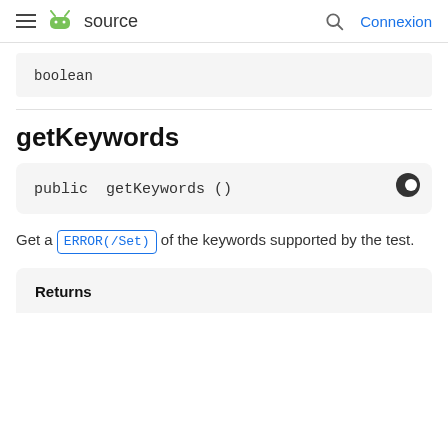≡ android source   🔍   Connexion
boolean
getKeywords
public  getKeywords ()
Get a ERROR(/Set) of the keywords supported by the test.
| Returns |
| --- |